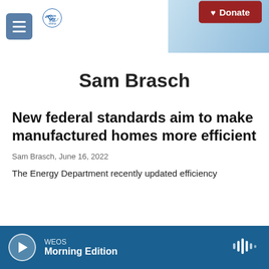WEOS 89.9FM 90.3FM Geneva — Donate
Sam Brasch
New federal standards aim to make manufactured homes more efficient
Sam Brasch, June 16, 2022
The Energy Department recently updated efficiency
WEOS Morning Edition